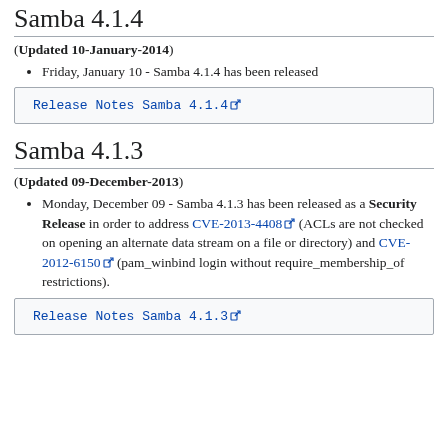Samba 4.1.4
(Updated 10-January-2014)
Friday, January 10 - Samba 4.1.4 has been released
Release Notes Samba 4.1.4 [external link]
Samba 4.1.3
(Updated 09-December-2013)
Monday, December 09 - Samba 4.1.3 has been released as a Security Release in order to address CVE-2013-4408 (ACLs are not checked on opening an alternate data stream on a file or directory) and CVE-2012-6150 (pam_winbind login without require_membership_of restrictions).
Release Notes Samba 4.1.3 [external link]